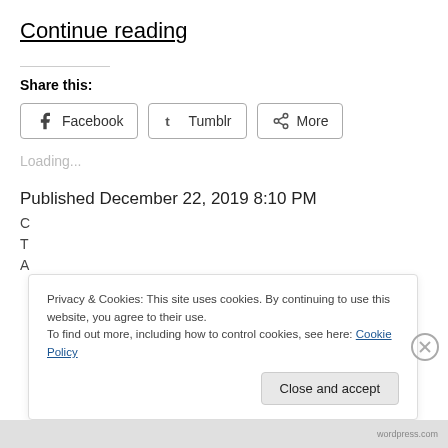Continue reading
Share this:
Facebook   Tumblr   More
Loading...
Published December 22, 2019 8:10 PM
Privacy & Cookies: This site uses cookies. By continuing to use this website, you agree to their use.
To find out more, including how to control cookies, see here: Cookie Policy
Close and accept